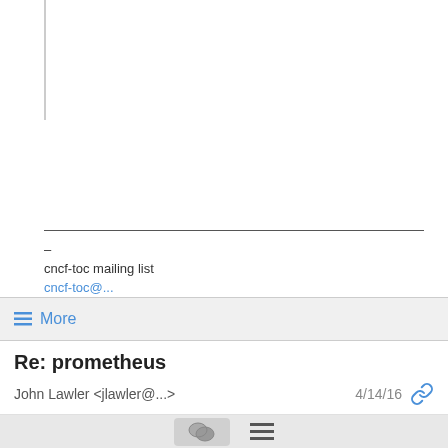_
cncf-toc mailing list
cncf-toc@...
https://lists.cncf.io/mailman/listinfo/cncf-toc
≡ More
Re: prometheus
John Lawler <jlawler@...>   4/14/16